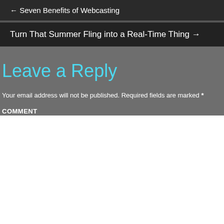← Seven Benefits of Webcasting
Turn That Summer Fling into a Real-Time Thing →
Leave a Reply
Your email address will not be published. Required fields are marked *
COMMENT